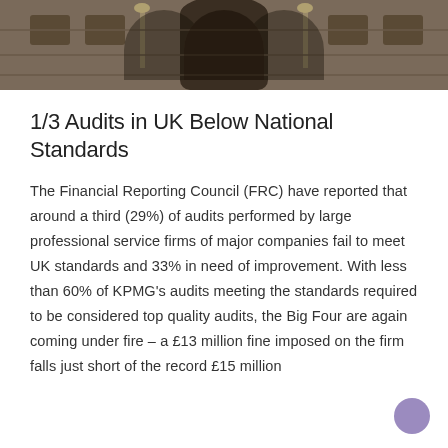[Figure (photo): Photograph of a historic stone building facade, possibly a UK institutional or government building, showing arched doorway and lamp posts]
1/3 Audits in UK Below National Standards
The Financial Reporting Council (FRC) have reported that around a third (29%) of audits performed by large professional service firms of major companies fail to meet UK standards and 33% in need of improvement. With less than 60% of KPMG's audits meeting the standards required to be considered top quality audits, the Big Four are again coming under fire – a £13 million fine imposed on the firm falls just short of the record £15 million fine Deloitte received last year...